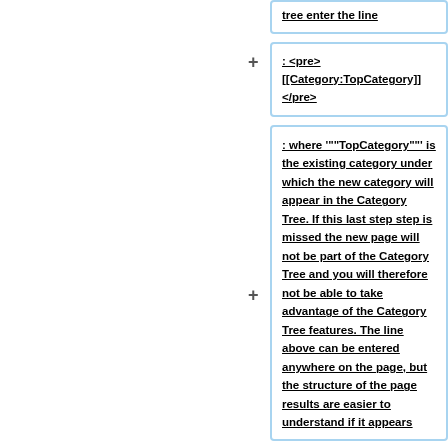tree enter the line
: <pre>
[[Category:TopCategory]]
</pre>
: where '""""TopCategory""""' is the existing category under which the new category will appear in the Category Tree. If this last step step is missed the new page will not be part of the Category Tree and you will therefore not be able to take advantage of the Category Tree features. The line above can be entered anywhere on the page, but the structure of the page results are easier to understand if it appears